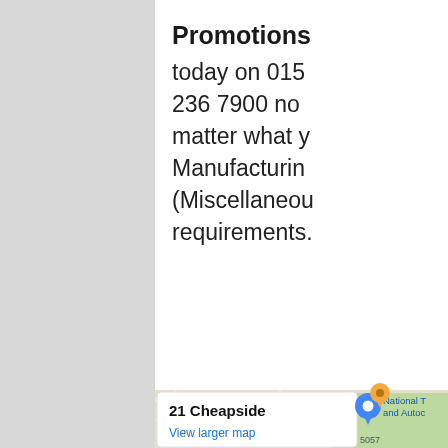Promotions
today on 0151 236 7900 no matter what y Manufacturing (Miscellaneous requirements.
[Figure (map): Google Maps showing 21 Cheapside with a popup tooltip, displaying surrounding area including St Hugh's House, Hugh Baird College, Bootle South Recreation Ground, roads A5057, A5058, Balliol Rd, Trinity Rd, Pembroke Rd, Stanley Rd, Exeter Rd, Wadham Rd, Sidney Rd, Gonville Rd, and nearby locations National T and Autoc, Food Plus (Daria).]